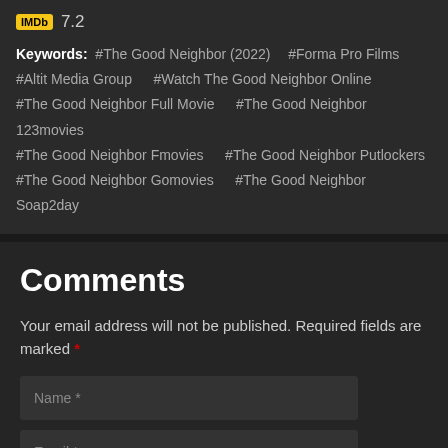[Figure (logo): IMDb yellow badge logo with score 7.2]
Keywords: #The Good Neighbor (2022) #Forma Pro Films #Altit Media Group #Watch The Good Neighbor Online #The Good Neighbor Full Movie #The Good Neighbor 123movies #The Good Neighbor Fmovies #The Good Neighbor Putlockers #The Good Neighbor Gomovies #The Good Neighbor Soap2day
Comments
Your email address will not be published. Required fields are marked *
Name *
Email *
Type your comment *